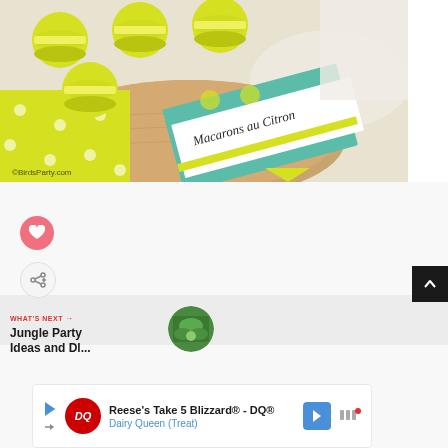[Figure (photo): Yellow macarons on a wooden board with a lemon-themed tent card reading 'Macarons au Citron' in cursive, on a yellow polka-dot background. Watermark: ©BirdsParty.com]
[Figure (infographic): Like (heart) button - pink circle with white heart icon]
[Figure (infographic): Share button - light gray circle with share/add icon]
[Figure (infographic): Scroll to top button - dark square with up arrow]
WHAT'S NEXT →
Jungle Party Ideas and Dl...
[Figure (photo): Thumbnail of jungle party image, circular crop]
[Figure (infographic): Advertisement banner: Reese's Take 5 Blizzard® - DQ® Dairy Queen (Treat) with DQ logo and navigation icons]